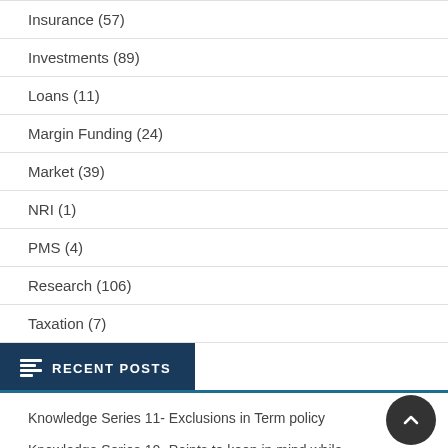Insurance (57)
Investments (89)
Loans (11)
Margin Funding (24)
Market (39)
NRI (1)
PMS (4)
Research (106)
Taxation (7)
RECENT POSTS
Knowledge Series 11- Exclusions in Term policy
Knowledge Series 10- Points to keep in mind while